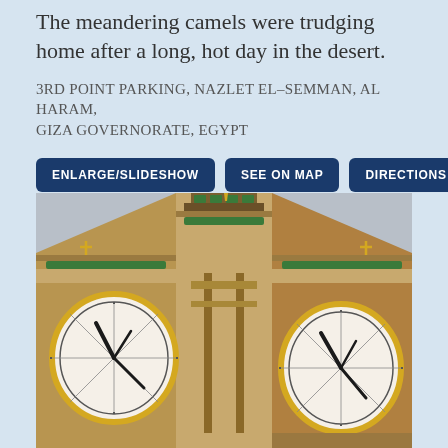The meandering camels were trudging home after a long, hot day in the desert.
3RD POINT PARKING, NAZLET EL-SEMMAN, AL HARAM, GIZA GOVERNORATE, EGYPT
ENLARGE/SLIDESHOW | SEE ON MAP | DIRECTIONS
[Figure (photo): Close-up upward-angle photograph of the Big Ben clock tower (Elizabeth Tower) in London, showing two large clock faces with ornate gold and stone Gothic architectural details.]